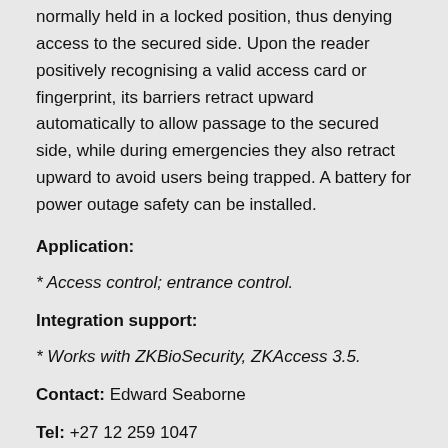normally held in a locked position, thus denying access to the secured side. Upon the reader positively recognising a valid access card or fingerprint, its barriers retract upward automatically to allow passage to the secured side, while during emergencies they also retract upward to avoid users being trapped. A battery for power outage safety can be installed.
Application:
* Access control; entrance control.
Integration support:
* Works with ZKBioSecurity, ZKAccess 3.5.
Contact: Edward Seaborne
Tel: +27 12 259 1047
sales@zkteco.co.za